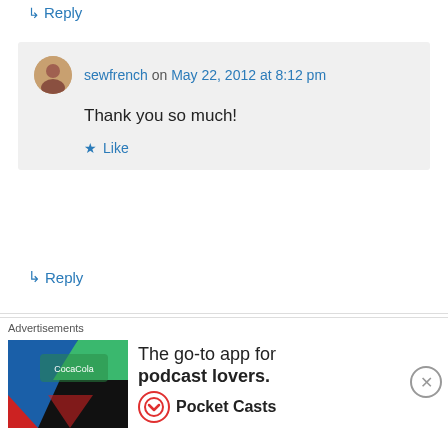↳ Reply
sewfrench on May 22, 2012 at 8:12 pm
Thank you so much!
★ Like
↳ Reply
cinzia allocca on May 20, 2012 at 7:04 am
thank you for sharing your process. it's such a beautiful quilt. And i agree with you when you say 'what's the hurry?' - the hand quilting is
[Figure (infographic): Advertisement banner: Pocket Casts app ad — 'The go-to app for podcast lovers.']